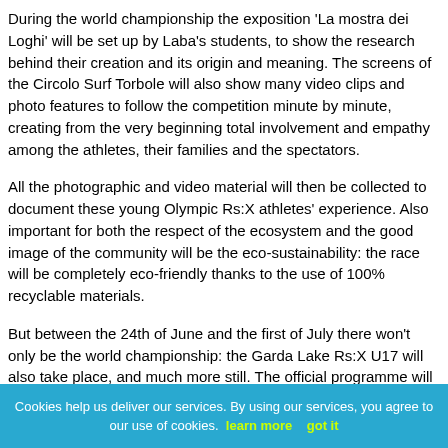During the world championship the exposition 'La mostra dei Loghi' will be set up by Laba's students, to show the research behind their creation and its origin and meaning. The screens of the Circolo Surf Torbole will also show many video clips and photo features to follow the competition minute by minute, creating from the very beginning total involvement and empathy among the athletes, their families and the spectators.
All the photographic and video material will then be collected to document these young Olympic Rs:X athletes' experience. Also important for both the respect of the ecosystem and the good image of the community will be the eco-sustainability: the race will be completely eco-friendly thanks to the use of 100% recyclable materials.
But between the 24th of June and the first of July there won't only be the world championship: the Garda Lake Rs:X U17 will also take place, and much more still. The official programme will start in the morning of the 24 June but will be preceded, for those attending, by the world championship teams' parade (evening 25 June) through the streets of Torbole: a folkloristic moment to join sport and city and thank the latter for its hospitality.
Cookies help us deliver our services. By using our services, you agree to our use of cookies. learn more   got it